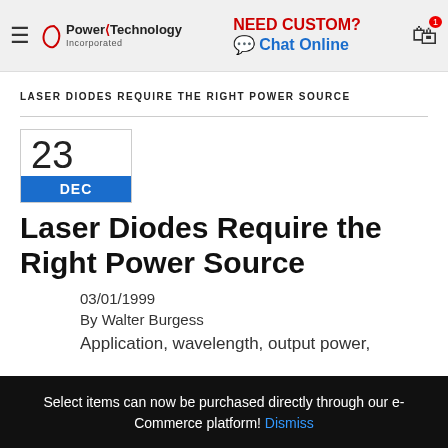Power Technology Incorporated — NEED CUSTOM? Chat Online
LASER DIODES REQUIRE THE RIGHT POWER SOURCE
23 DEC
Laser Diodes Require the Right Power Source
03/01/1999
By Walter Burgess
Application, wavelength, output power,
Select items can now be purchased directly through our e-Commerce platform! Dismiss